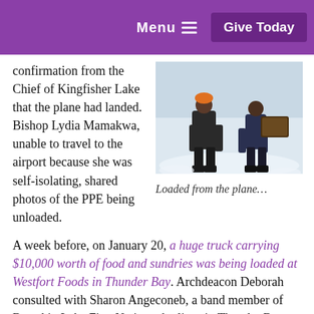Menu  Give Today
confirmation from the Chief of Kingfisher Lake that the plane had landed. Bishop Lydia Mamakwa, unable to travel to the airport because she was self-isolating, shared photos of the PPE being unloaded.
[Figure (photo): Person in winter gear/PPE being loaded from a plane in snowy conditions]
Loaded from the plane…
A week before, on January 20, a huge truck carrying $10,000 worth of food and sundries was being loaded at Westfort Foods in Thunder Bay. Archdeacon Deborah consulted with Sharon Angeconeb, a band member of Bearskin Lake First Nation who lives in Thunder Bay. Angeconeb arranged a list of needed supplies and helped coordinate the response with Westfort Foods. The truck